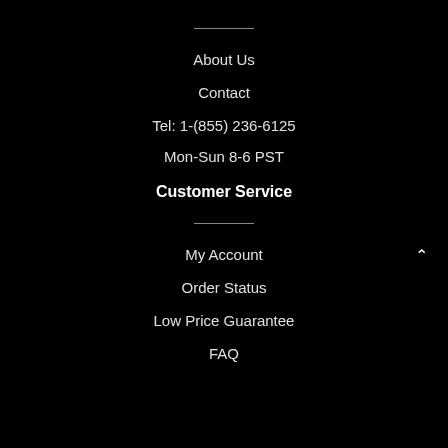About Us
Contact
Tel: 1-(855) 236-6125
Mon-Sun 8-6 PST
Customer Service
My Account
Order Status
Low Price Guarantee
FAQ